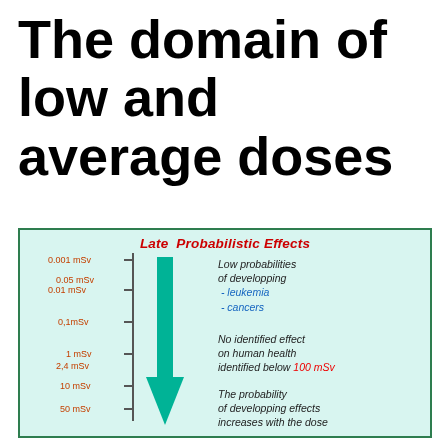The domain of low and average doses
[Figure (infographic): Diagram showing Late Probabilistic Effects of radiation doses on a vertical scale from 0.001 mSv to 50 mSv with a downward green arrow. Text describes: low probabilities of developing leukemia and cancers; no identified effect on human health identified below 100 mSv; the probability of developing effects increases with the dose.]